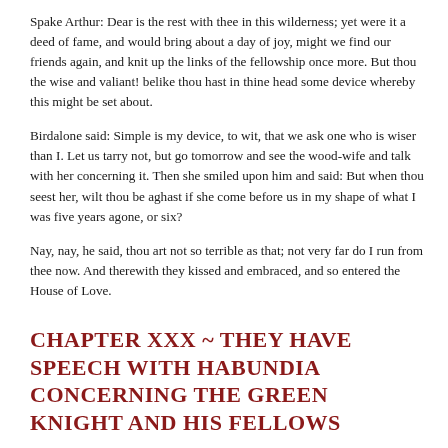Spake Arthur: Dear is the rest with thee in this wilderness; yet were it a deed of fame, and would bring about a day of joy, might we find our friends again, and knit up the links of the fellowship once more. But thou the wise and valiant! belike thou hast in thine head some device whereby this might be set about.
Birdalone said: Simple is my device, to wit, that we ask one who is wiser than I. Let us tarry not, but go tomorrow and see the wood-wife and talk with her concerning it. Then she smiled upon him and said: But when thou seest her, wilt thou be aghast if she come before us in my shape of what I was five years agone, or six?
Nay, nay, he said, thou art not so terrible as that; not very far do I run from thee now. And therewith they kissed and embraced, and so entered the House of Love.
CHAPTER XXX ~ THEY HAVE SPEECH WITH HABUNDIA CONCERNING THE GREEN KNIGHT AND HIS FELLOWS